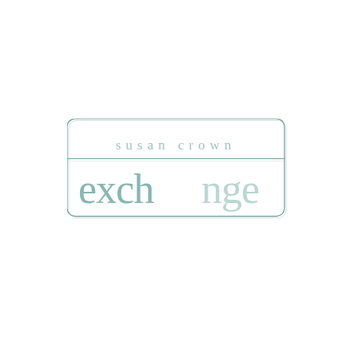[Figure (logo): Susan Crown Exchange logo. A rounded rectangle outline contains two rows: top row has 'susan crown' in light spaced sans-serif text; bottom row has 'exch nge' in large serif text in muted teal, with a gap between 'exch' and 'nge' where the 'a' is implied by the layout. A horizontal line divides the two rows. The overall color is muted teal/sage green.]